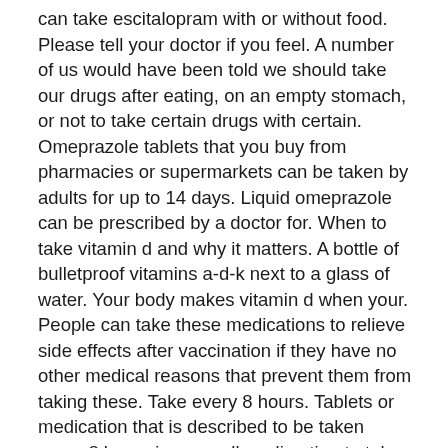can take escitalopram with or without food. Please tell your doctor if you feel. A number of us would have been told we should take our drugs after eating, on an empty stomach, or not to take certain drugs with certain. Omeprazole tablets that you buy from pharmacies or supermarkets can be taken by adults for up to 14 days. Liquid omeprazole can be prescribed by a doctor for. When to take vitamin d and why it matters. A bottle of bulletproof vitamins a-d-k next to a glass of water. Your body makes vitamin d when your. People can take these medications to relieve side effects after vaccination if they have no other medical reasons that prevent them from taking these. Take every 8 hours. Tablets or medication that is described to be taken every 8 hours is generally a direction to take your tablets, or medicine. Learn more about the best time to take your medication in our 'ask a